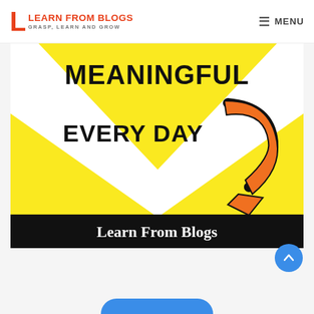LEARN FROM BLOGS — GRASP, LEARN AND GROW | MENU
[Figure (illustration): Promotional image with yellow background showing a large white chevron/arrow shape pointing down. Text reads 'MEANINGFUL' at top and 'EVERY DAY' below, with a large curved orange arrow on the right side. A black banner at the bottom reads 'Learn From Blogs'.]